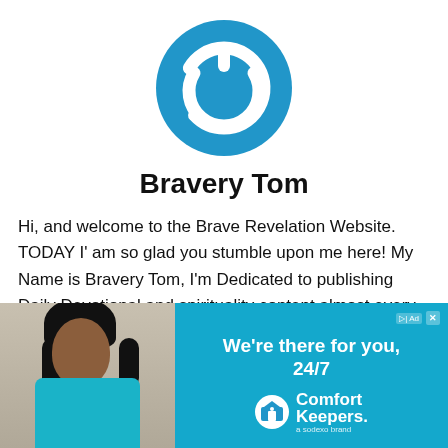[Figure (logo): Blue circular power button logo icon with white power symbol]
Bravery Tom
Hi, and welcome to the Brave Revelation Website. TODAY I' am so glad you stumble upon me here! My Name is Bravery Tom, I'm Dedicated to publishing Daily Devotional and spirituality content almost every day through the undiluted word of God. I hope my articles on
[Figure (photo): Advertisement overlay: Left side shows a smiling woman in a cyan uniform shirt. Right side is a cyan/blue ad panel for Comfort Keepers with text 'We're there for you, 24/7' and the Comfort Keepers logo with tagline 'a sodexo brand']